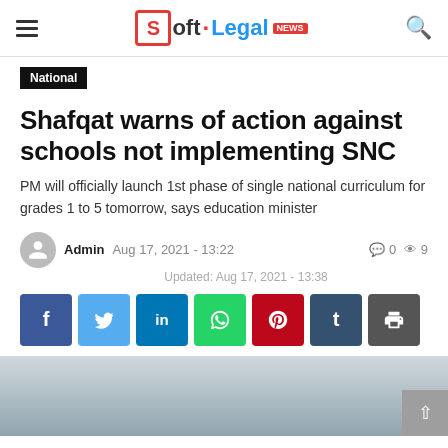Soft.Legal NEWS
National
Shafqat warns of action against schools not implementing SNC
PM will officially launch 1st phase of single national curriculum for grades 1 to 5 tomorrow, says education minister
Admin  Aug 17, 2021 - 13:22    0  9
Updated: Aug 17, 2021 - 13:38
[Figure (infographic): Social media share buttons: Facebook, Twitter, LinkedIn, WhatsApp, Pinterest, Tumblr, Print]
[Figure (photo): Partial photo of a person, appears to be a news article image at the bottom of the page]